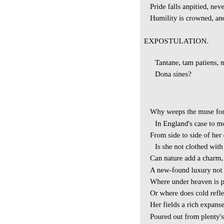Pride falls anpitied, never m
Humility is crowned, and fa
EXPOSTULATION.
Tantane, tam patiens, nullo o
Dona sines?
Why weeps the muse for En
 In England's case to move t
From side to side of her del
 Is she not clothed with a pe
Can nature add a charm, or
A new-found luxury not see
Where under heaven is plea
Or where does cold reflectio
Her fields a rich expanse of
Poured out from plenty's ov
Ambrosial gardens, in whic
The fervour and the force o
Her peaceful shores, where
To pour his golden tide tha